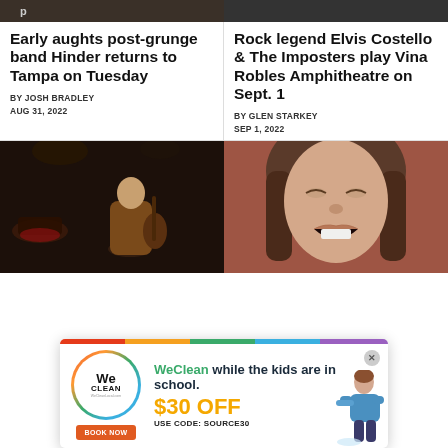[Figure (photo): Two cropped dark background images at the top of the page (partially cut off)]
Early aughts post-grunge band Hinder returns to Tampa on Tuesday
BY JOSH BRADLEY
AUG 31, 2022
Rock legend Elvis Costello & The Imposters play Vina Robles Amphitheatre on Sept. 1
BY GLEN STARKEY
SEP 1, 2022
[Figure (photo): Musician playing guitar on stage with dark background]
[Figure (photo): Close-up of a young woman with brown hair, mouth open, against a reddish-brown background]
[Figure (infographic): WeClean advertisement banner: 'WeClean while the kids are in school. $30 OFF USE CODE: Source30' with BOOK NOW button and cleaning person image]